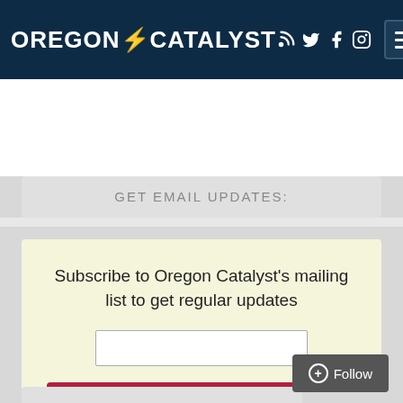OREGON CATALYST
GET EMAIL UPDATES:
Subscribe to Oregon Catalyst's mailing list to get regular updates
SEARCH